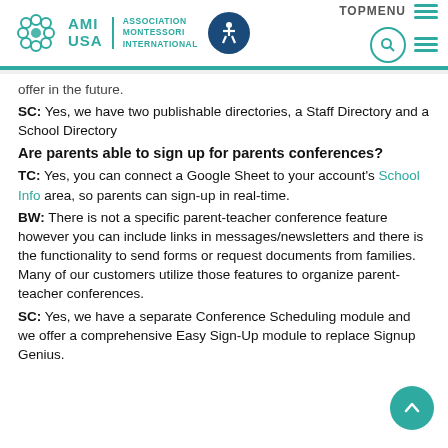AMI USA | Association Montessori International – TOPMENU
…offer in the future.
SC: Yes, we have two publishable directories, a Staff Directory and a School Directory
Are parents able to sign up for parents conferences?
TC: Yes, you can connect a Google Sheet to your account's School Info area, so parents can sign-up in real-time.
BW: There is not a specific parent-teacher conference feature however you can include links in messages/newsletters and there is the functionality to send forms or request documents from families. Many of our customers utilize those features to organize parent-teacher conferences.
SC: Yes, we have a separate Conference Scheduling module and we offer a comprehensive Easy Sign-Up module to replace Signup Genius.